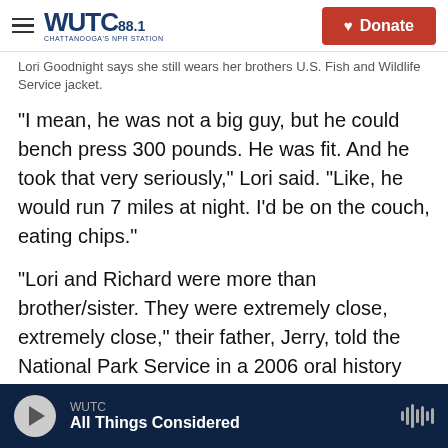WUTC 88.1 Chattanooga's NPR Station | Donate
Lori Goodnight says she still wears her brothers U.S. Fish and Wildlife Service jacket.
"I mean, he was not a big guy, but he could bench press 300 pounds. He was fit. And he took that very seriously," Lori said. "Like, he would run 7 miles at night. I'd be on the couch, eating chips."
"Lori and Richard were more than brother/sister. They were extremely close, extremely close," their father, Jerry, told the National Park Service in a 2006 oral history interview.
Their relationship grew even tighter as adults when
WUTC | All Things Considered